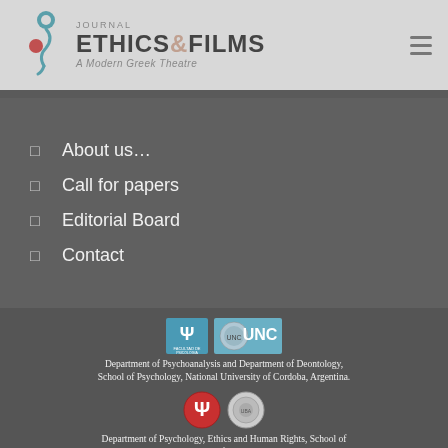JOURNAL ETHICS & FILMS A Modern Greek Theatre
About us…
Call for papers
Editorial Board
Contact
[Figure (logo): Facultad de Psicologia logo and UNC logo]
Department of Psychoanalysis and Department of Deontology, School of Psychology, National University of Cordoba, Argentina.
[Figure (logo): Psi symbol red logo and University of Buenos Aires seal]
Department of Psychology, Ethics and Human Rights, School of Psychology, University of Buenos Aires, Argentina.